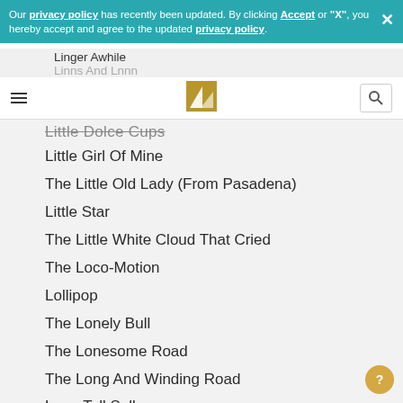Our privacy policy has recently been updated. By clicking Accept or "X", you hereby accept and agree to the updated privacy policy.
[Figure (logo): Navigation bar with hamburger menu, site logo (stylized book/music icon in gold), and search button]
Little Dolce Cups (partially visible, strikethrough)
Little Girl Of Mine
The Little Old Lady (From Pasadena)
Little Star
The Little White Cloud That Cried
The Loco-Motion
Lollipop
The Lonely Bull
The Lonesome Road
The Long And Winding Road
Long Tall Sally
Longer
The Look Of Love
Looks Like We Made It
The Lord's Prayer
Love In The Fifties Tonight (In The Still Of The Nite) (partially visible)